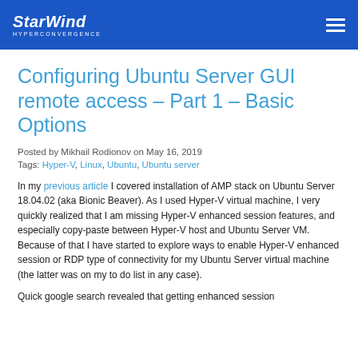StarWind HYPERCONVERGENCE
Configuring Ubuntu Server GUI remote access – Part 1 – Basic Options
Posted by Mikhail Rodionov on May 16, 2019
Tags: Hyper-V, Linux, Ubuntu, Ubuntu server
In my previous article I covered installation of AMP stack on Ubuntu Server 18.04.02 (aka Bionic Beaver). As I used Hyper-V virtual machine, I very quickly realized that I am missing Hyper-V enhanced session features, and especially copy-paste between Hyper-V host and Ubuntu Server VM. Because of that I have started to explore ways to enable Hyper-V enhanced session or RDP type of connectivity for my Ubuntu Server virtual machine (the latter was on my to do list in any case).
Quick google search revealed that getting enhanced session could be done using if you could bind a display to the virtual machine